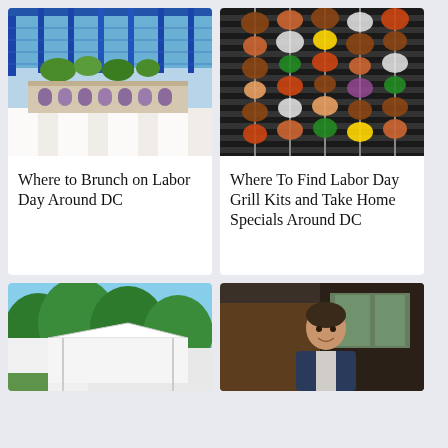[Figure (photo): Rooftop restaurant with blue steel pergola, hanging plants, and purple bar stools at a long white counter]
Where to Brunch on Labor Day Around DC
[Figure (photo): Close-up of meat and vegetable skewers on a dark grill grate]
Where To Find Labor Day Grill Kits and Take Home Specials Around DC
[Figure (photo): Outdoor tent or canopy with green trees in background]
[Figure (photo): Portrait of a man smiling in a restaurant setting with dark wood interior]